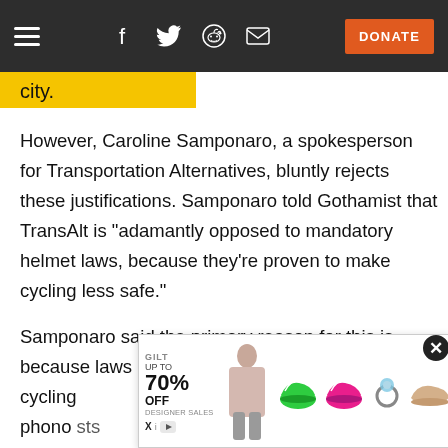Navigation bar with hamburger menu, social icons (Facebook, Twitter, Reddit, Email), and DONATE button
city.
However, Caroline Samponaro, a spokesperson for Transportation Alternatives, bluntly rejects these justifications. Samponaro told Gothamist that TransAlt is "adamantly opposed to mandatory helmet laws, because they're proven to make cycling less safe."
Samponaro said the primary reason for this is because laws requiring helmet use discourage cycling phono sts
[Figure (screenshot): Advertisement overlay from Gilt showing 'UP TO 70% OFF DESIGNER SALES' with images of colorful sneakers, pink shoes, a ring, and ballet flats. Has a close (X) button in top right corner.]